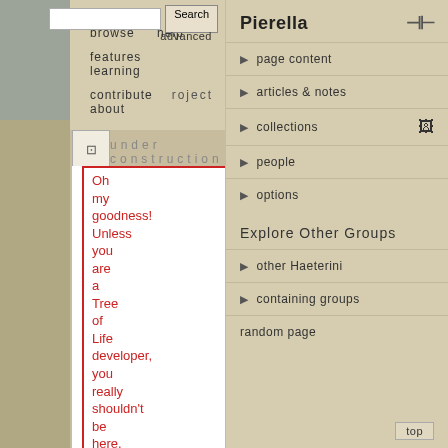home   browse   help   features   learning   contribute   about
advanced
roject
under construction
Oh my goodness! Unless you are a Tree of Life developer, you really shouldn't be here. This page is part of our beta test site, where
Pierella
page content
articles & notes
collections
people
options
Explore Other Groups
other Haeterini
containing groups
random page
top